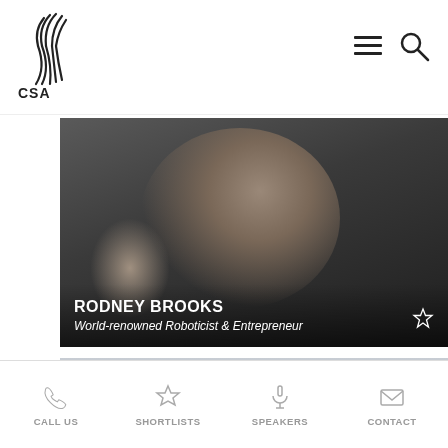[Figure (logo): CSA speaker agency logo with stylized lines and CSA text]
[Figure (photo): Rodney Brooks, man in dark suit holding a small device, pointing upward with one finger, smiling, wearing glasses]
RODNEY BROOKS
World-renowned Roboticist & Entrepreneur
[Figure (photo): Partial photo of another speaker, man visible from shoulders up in a modern interior setting]
CALL US   SHORTLISTS   SPEAKERS   CONTACT